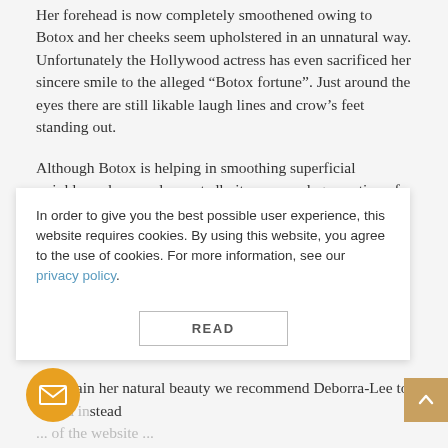Her forehead is now completely smoothened owing to Botox and her cheeks seem upholstered in an unnatural way. Unfortunately the Hollywood actress has even sacrificed her sincere smile to the alleged “Botox fortune”. Just around the eyes there are still likable laugh lines and crow’s feet standing out.
Although Botox is helping in smoothing superficial wrinkles, when used repeatedly it causes a degeneration of cutaneous glands, wherefore skin gets increasingly dryer and therefore is looking older. This vicious circle is often intensified by combination treatments with artificial fillers. Injected fillers such as hyaluronic acid in fact bring back facial volume, but they do not improve the quality of the underlying tissue. Quite the contrary, sometimes unnatural knobs and overdimensioned balloon-like faces develop.
To obtain her natural beauty we recommend Deborra-Lee to ... and instead ... of the website ... For more information, see our privacy policy. ... treatment, a regeneration of mature skin can be performed with the patient’s own blood (platelet-rich plasma,
In order to give you the best possible user experience, this website requires cookies. By using this website, you agree to the use of cookies. For more information, see our privacy policy.